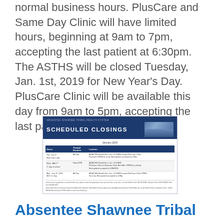normal business hours. PlusCare and Same Day Clinic will have limited hours, beginning at 9am to 7pm, accepting the last patient at 6:30pm. The ASTHS will be closed Tuesday, Jan. 1st, 2019 for New Year's Day. PlusCare Clinic will be available this day from 9am to 5pm, accepting the last patient at 4:30pm.
[Figure (infographic): Absentee Shawnee Tribal Health System Scheduled Closings flyer for January 2019. Shows a table with three holiday closings: Tue Jan 1st (All Day) - ASTHS CLOSED except PlusCare Clinic; Wed Jan 2nd (Noon-5PM) - PlusCare Clinic & Shawnee Clinic; Mon Jan 21, 2019 (All Day) - ASTHS CLOSED except PlusCare Clinic OPEN 9am-5pm. Includes footnotes with contact numbers.]
Absentee Shawnee Tribal